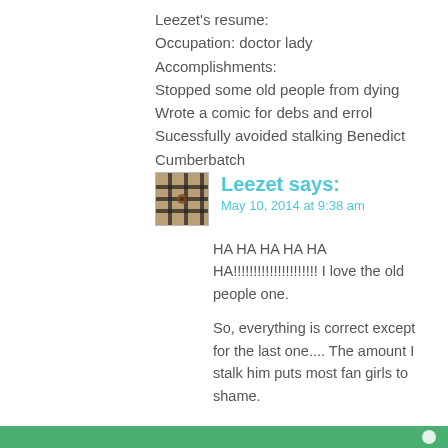Leezet's resume:
Occupation: doctor lady
Accomplishments:
Stopped some old people from dying
Wrote a comic for debs and errol
Sucessfully avoided stalking Benedict Cumberbatch
[Figure (photo): Small avatar photo showing a wooden or metal grated structure, brownish tones.]
Leezet says:
May 10, 2014 at 9:38 am
HA HA HA HA HA HA!!!!!!!!!!!!!!!!!!!!! I love the old people one.

So, everything is correct except for the last one.... The amount I stalk him puts most fan girls to shame.